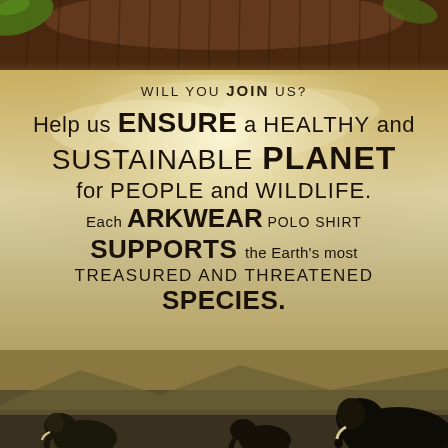[Figure (photo): Top strip showing brown animal fur (likely bear or bison) with green leaves visible, overlaid on a savanna/sky background with dramatic cloud lighting]
WILL YOU JOIN US?
Help us ENSURE a HEALTHY and SUSTAINABLE PLANET for PEOPLE and WILDLIFE. Each ARKWEAR POLO SHIRT SUPPORTS the Earth's most TREASURED and THREATENED SPECIES.
[Figure (photo): Bottom strip showing elephant silhouettes against a dark savanna ground with mountains in background]
BUY SHIRTS TO SUPPORT ANIMALS